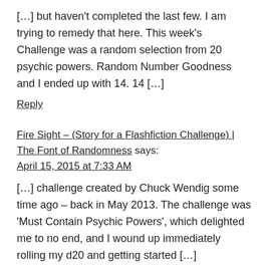[…] but haven't completed the last few. I am trying to remedy that here. This week's Challenge was a random selection from 20 psychic powers. Random Number Goodness and I ended up with 14. 14 […]
Reply
Fire Sight – (Story for a Flashfiction Challenge) | The Font of Randomness says: April 15, 2015 at 7:33 AM
[…] challenge created by Chuck Wendig some time ago – back in May 2013. The challenge was 'Must Contain Psychic Powers', which delighted me to no end, and I wound up immediately rolling my d20 and getting started […]